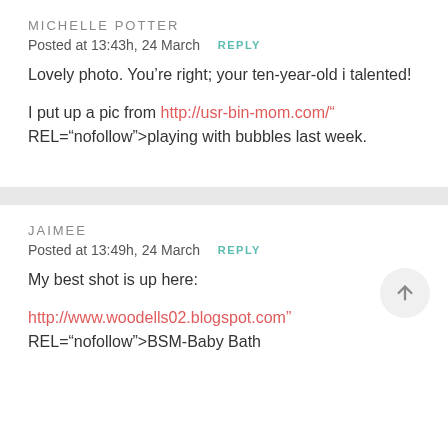MICHELLE POTTER
Posted at 13:43h, 24 March  REPLY
Lovely photo. You’re right; your ten-year-old is talented!
I put up a pic from http://usr-bin-mom.com/" REL="nofollow">playing with bubbles last week.
JAIMEE
Posted at 13:49h, 24 March  REPLY
My best shot is up here:
http://www.woodells02.blogspot.com" REL="nofollow">BSM-Baby Bath